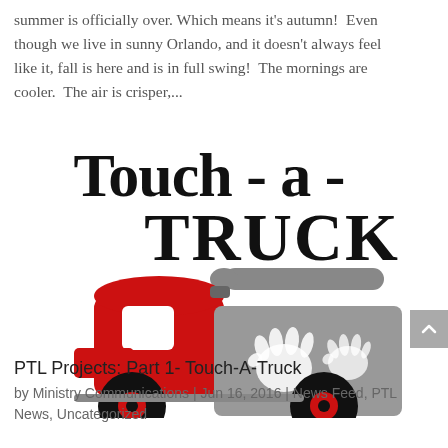summer is officially over. Which means it's autumn!  Even though we live in sunny Orlando, and it doesn't always feel like it, fall is here and is in full swing!  The mornings are cooler.  The air is crisper,...
[Figure (illustration): Touch-a-Truck logo: bold black serif text 'Touch - a - TRUCK' above a cartoon tow truck illustration. The truck cab is red with a white square window, connected to a gray dump/flatbed body containing white handprints (a large adult hand and a smaller child hand). The wheels are black with red hubcaps.]
PTL Projects: Part 1- Touch-A-Truck
by Ministry Communications | Jun 16, 2016 | News Feed, PTL News, Uncategorized